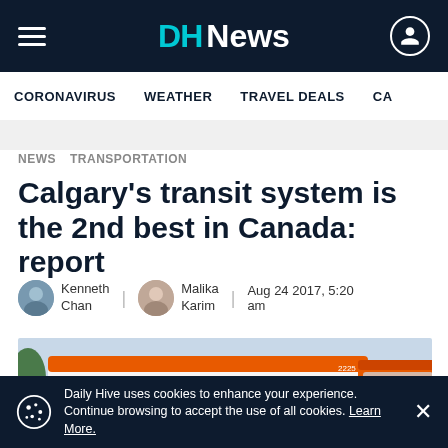DH News
CORONAVIRUS  WEATHER  TRAVEL DEALS  CA...
NEWS  TRANSPORTATION
Calgary's transit system is the 2nd best in Canada: report
Kenneth Chan | Malika Karim | Aug 24 2017, 5:20 am
[Figure (photo): An orange and white transit bus/LRT at a station, with trees and sky in background.]
Daily Hive uses cookies to enhance your experience. Continue browsing to accept the use of all cookies. Learn More.